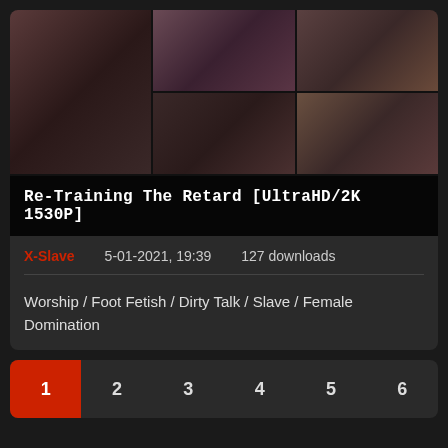[Figure (photo): Thumbnail grid of 6 video screenshots arranged in a 3-column grid layout showing scenes from the video]
Re-Training The Retard [UltraHD/2K 1530P]
X-Slave    5-01-2021, 19:39    127 downloads
Worship / Foot Fetish / Dirty Talk / Slave / Female Domination
1  2  3  4  5  6